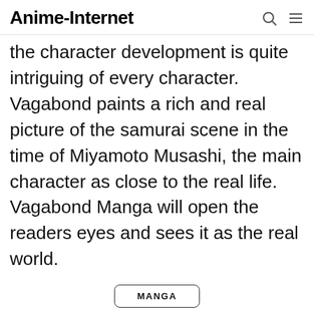Anime-Internet
the character development is quite intriguing of every character. Vagabond paints a rich and real picture of the samurai scene in the time of Miyamoto Musashi, the main character as close to the real life. Vagabond Manga will open the readers eyes and sees it as the real world.
MANGA
Subscribe / Sign In